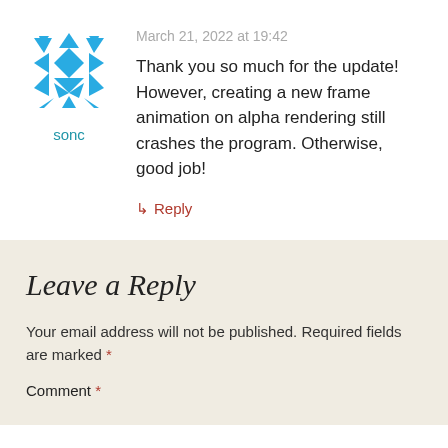[Figure (illustration): Blue geometric/quilt-pattern avatar icon for user 'sonc']
sonc
March 21, 2022 at 19:42
Thank you so much for the update! However, creating a new frame animation on alpha rendering still crashes the program. Otherwise, good job!
↳ Reply
Leave a Reply
Your email address will not be published. Required fields are marked *
Comment *